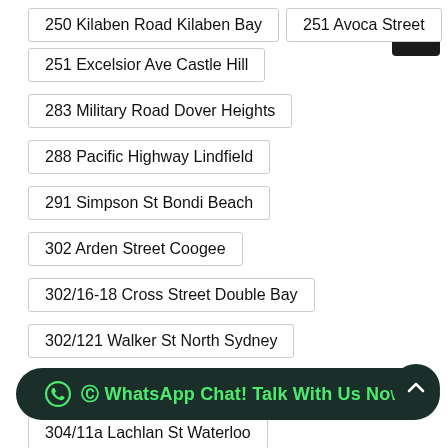250 Kilaben Road Kilaben Bay
251 Avoca Street
251 Excelsior Ave Castle Hill
283 Military Road Dover Heights
288 Pacific Highway Lindfield
291 Simpson St Bondi Beach
302 Arden Street Coogee
302/16-18 Cross Street Double Bay
302/121 Walker St North Sydney
302_138 Walker Street North Sydney
304/11a Lachlan St Waterloo
306 Edgecliff Road Woollahra
30…
306_100 Darling Point Road Darling Point
WhatsApp Chat! Talk With Us Now!